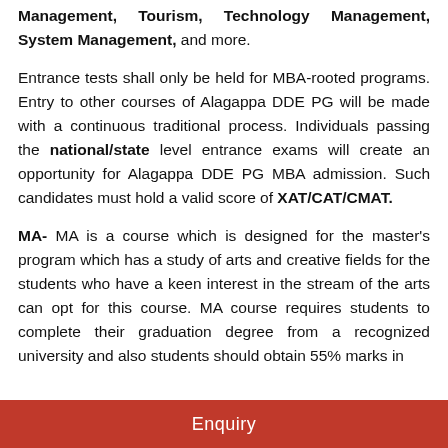Management, Tourism, Technology Management, System Management, and more.
Entrance tests shall only be held for MBA-rooted programs. Entry to other courses of Alagappa DDE PG will be made with a continuous traditional process. Individuals passing the national/state level entrance exams will create an opportunity for Alagappa DDE PG MBA admission. Such candidates must hold a valid score of XAT/CAT/CMAT.
MA- MA is a course which is designed for the master's program which has a study of arts and creative fields for the students who have a keen interest in the stream of the arts can opt for this course. MA course requires students to complete their graduation degree from a recognized university and also students should obtain 55% marks in
Enquiry